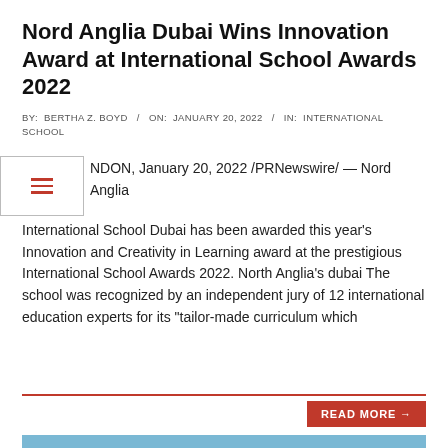Nord Anglia Dubai Wins Innovation Award at International School Awards 2022
BY: BERTHA Z. BOYD / ON: JANUARY 20, 2022 / IN: INTERNATIONAL SCHOOL
LONDON, January 20, 2022 /PRNewswire/ — Nord Anglia International School Dubai has been awarded this year's Innovation and Creativity in Learning award at the prestigious International School Awards 2022. North Anglia's dubai The school was recognized by an independent jury of 12 international education experts for its "tailor-made curriculum which
READ MORE →
[Figure (photo): A person with curly hair wearing a white shirt sitting outdoors near colorful wooden buildings (green, teal, blue) with trees in the background.]